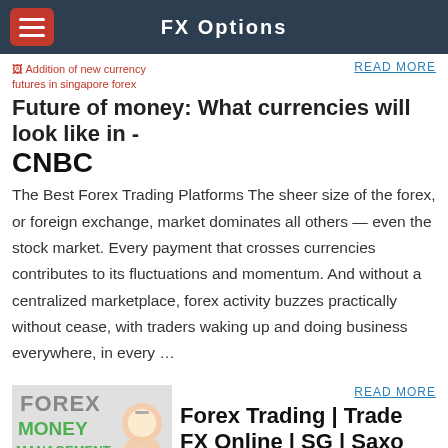FX Options
[Figure (screenshot): Thumbnail placeholder showing broken image icon with red text: Addition of new currency futures in singapore forex]
READ MORE
Future of money: What currencies will look like in -
CNBC
The Best Forex Trading Platforms The sheer size of the forex, or foreign exchange, market dominates all others — even the stock market. Every payment that crosses currencies contributes to its fluctuations and momentum. And without a centralized marketplace, forex activity buzzes practically without cease, with traders waking up and doing business everywhere, in every …
[Figure (logo): Forex Money Management logo with piggy bank image]
READ MORE
Forex Trading | Trade FX Online | SG | Saxo Markets
When trading forex, your broker will list each currency pair, along with their exchange rate, while indicating